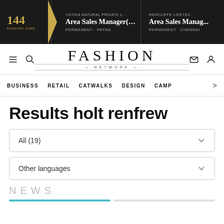144 FASHION JOBS | YUTIKA NATURAL PRIVATE L... Area Sales Manager(P... PERMANENT - PATNA | REDCLIFFE LIFETEC... Area Sales Manag... PERMANENT - CHENNAI
[Figure (logo): Fashion Network logo with FASHION NETWORK text]
BUSINESS   RETAIL   CATWALKS   DESIGN   CAMP >
Results holt renfrew
All (19)
Other languages
NEWS